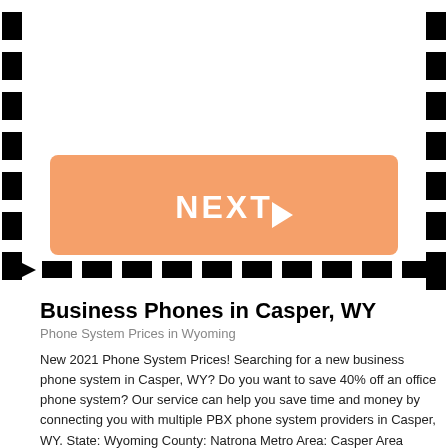[Figure (other): Film-strip style dashed border UI with an orange NEXT button containing a play arrow triangle]
Business Phones in Casper, WY
Phone System Prices in Wyoming
New 2021 Phone System Prices! Searching for a new business phone system in Casper, WY? Do you want to save 40% off an office phone system? Our service can help you save time and money by connecting you with multiple PBX phone system providers in Casper, WY. State: Wyoming County: Natrona Metro Area: Casper Area [...]